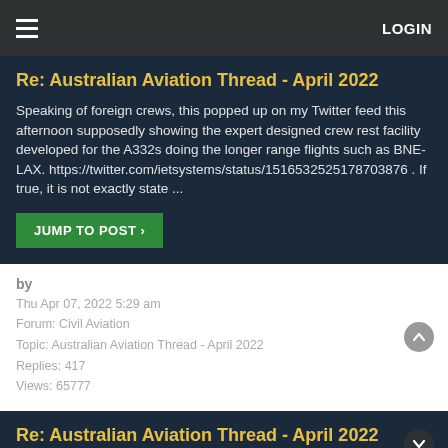LOGIN
Re: Australian Aviation Thread - April 2022
Speaking of foreign crews, this popped up on my Twitter feed this afternoon supposedly showing the expert designed crew rest facility developed for the A332s doing the longer range flights such as BNE-LAX. https://twitter.com/ietsystems/status/1516532525178703876 . If true, it is not exactly state ...
JUMP TO POST >
by
Thu Apr 07, 2022 5:29 am
Forum: Civil Aviation
Topic: Australian Aviation Thread - April 2022
Replies: 417
Views: 65777
Re: Australian Aviation Thread - April 2022
They need more widebody aircraft if they want to launch a heap of new routes. If I had to pick my guess would be: PER-JNB SYD-ICN ???-HND - If they can get the VA slot All the above can be done with A330s if some can be freed up?? QF have split their 2nd HND slot between MEL and BNE, they're assumi...